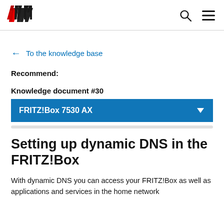AVM logo, search icon, menu icon
← To the knowledge base
Recommend:
Knowledge document #30
FRITZ!Box 7530 AX
Setting up dynamic DNS in the FRITZ!Box
With dynamic DNS you can access your FRITZ!Box as well as applications and services in the home network